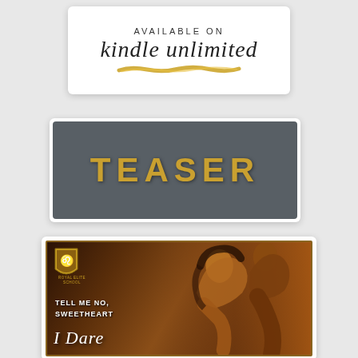[Figure (illustration): Kindle Unlimited promotional badge. White card with text 'AVAILABLE ON' in small caps and 'kindle unlimited' in italic script with a gold brush stroke underline.]
[Figure (illustration): Dark gray/charcoal banner card with gold text 'TEASER' in bold uppercase letters.]
[Figure (illustration): Book cover/teaser image for a romance novel. Dark brown background with gold border, Royal Elite School crest/shield top left, couple embracing (woman leaning back, man shirtless), text 'TELL ME NO, SWEETHEART' and 'I Dare' in script at bottom.]